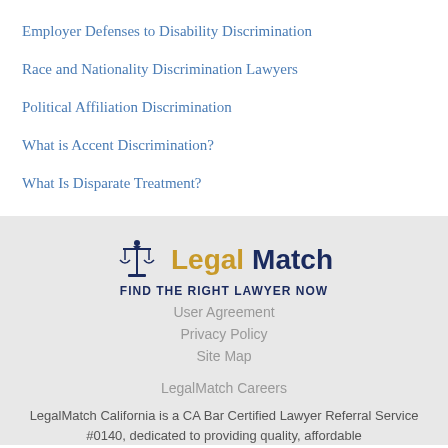Employer Defenses to Disability Discrimination
Race and Nationality Discrimination Lawyers
Political Affiliation Discrimination
What is Accent Discrimination?
What Is Disparate Treatment?
[Figure (logo): LegalMatch logo with scales of justice icon and tagline FIND THE RIGHT LAWYER NOW]
User Agreement
Privacy Policy
Site Map
LegalMatch Careers
LegalMatch California is a CA Bar Certified Lawyer Referral Service #0140, dedicated to providing quality, affordable